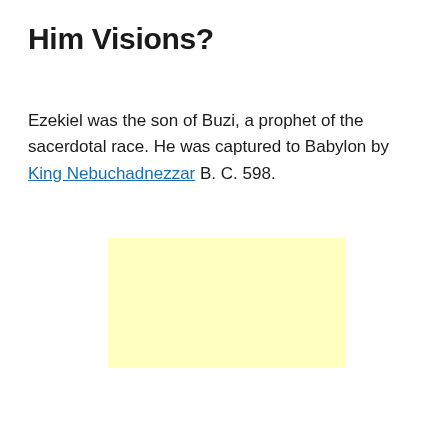Him Visions?
Ezekiel was the son of Buzi, a prophet of the sacerdotal race. He was captured to Babylon by King Nebuchadnezzar B. C. 598.
[Figure (other): Yellow advertisement placeholder rectangle]